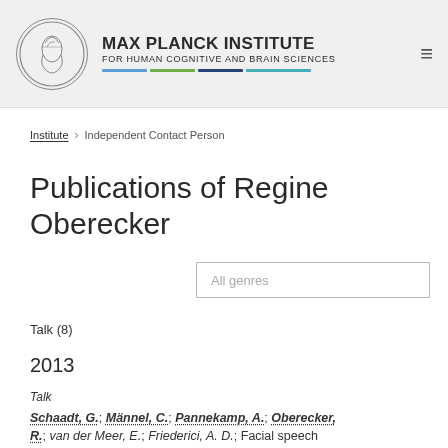[Figure (logo): Max Planck Institute logo with circular emblem and colored bar]
MAX PLANCK INSTITUTE FOR HUMAN COGNITIVE AND BRAIN SCIENCES
Institute > Independent Contact Person
Publications of Regine Oberecker
All genres
Talk (8)
2013
Talk
Schaadt, G.; Männel, C.; Pannekamp, A.; Oberecker, R.; van der Meer, E.; Friederici, A. D.; Facial speech